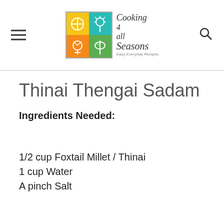[Figure (logo): Cooking 4 all Seasons logo with colorful grid and cursive text. Tagline: Easy Everyday Recipes]
Thinai Thengai Sadam
Ingredients Needed:
1/2 cup Foxtail Millet / Thinai
1 cup Water
A pinch Salt